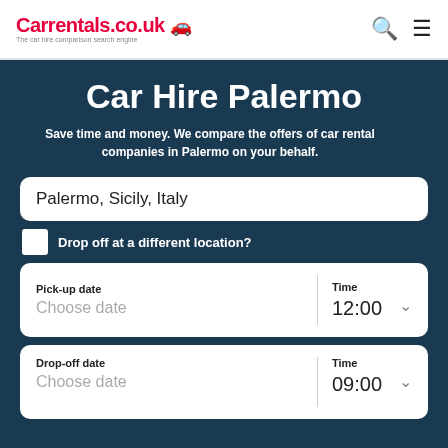Carrentals.co.uk — The car hire comparison search engine
Car Hire Palermo
Save time and money. We compare the offers of car rental companies in Palermo on your behalf.
Palermo, Sicily, Italy
Drop off at a different location?
Pick-up date
Choose date
Time
12:00
Drop-off date
Choose date
Time
09:00